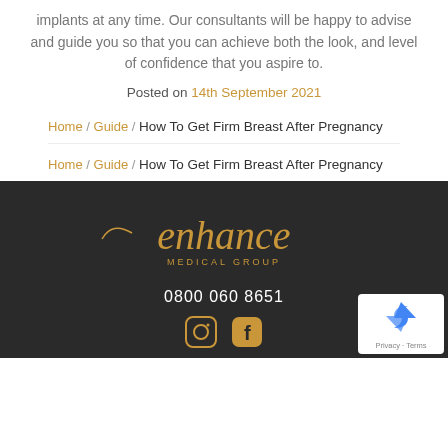implants at any time. Our consultants will be happy to advise and guide you so that you can achieve both the look, and level of confidence that you aspire to.
Posted on 14th September 2021
Home / Guide / How To Get Firm Breast After Pregnancy
Home / Guide / How To Get Firm Breast After Pregnancy
[Figure (logo): Enhance Medical Group logo in gold script font on dark background]
0800 060 8651
[Figure (other): Instagram and Facebook social media icons]